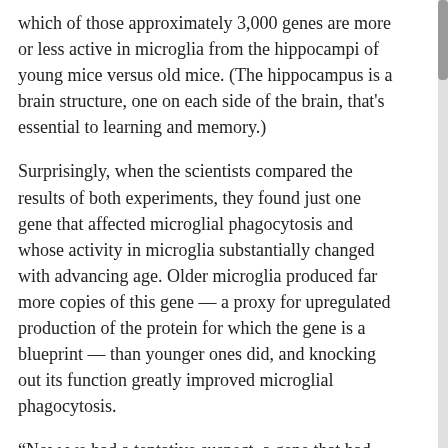which of those approximately 3,000 genes are more or less active in microglia from the hippocampi of young mice versus old mice. (The hippocampus is a brain structure, one on each side of the brain, that's essential to learning and memory.)
Surprisingly, when the scientists compared the results of both experiments, they found just one gene that affected microglial phagocytosis and whose activity in microglia substantially changed with advancing age. Older microglia produced far more copies of this gene — a proxy for upregulated production of the protein for which the gene is a blueprint — than younger ones did, and knocking out its function greatly improved microglial phagocytosis.
“Now we had a tentative suspect, a gene that had never before been implicated in microglial garbage removal,” Wyss-Coray said. So they zeroed in on this gene, called CD22, which is found in both mice and humans.